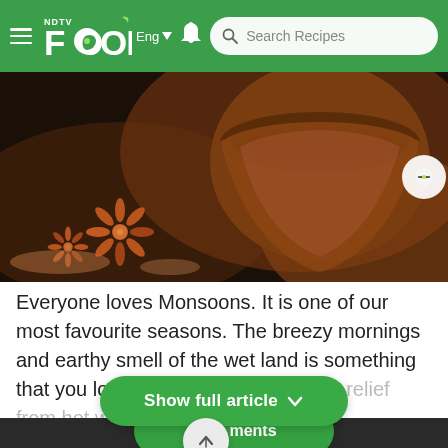NDTV Food – Eng | Search Recipes
[Figure (photo): Close-up photo of a clay/copper bowl with star anise and spices on a dark background, monsoon food theme]
Everyone loves Monsoons. It is one of our most favourite seasons. The breezy mornings and earthy smell of the wet land is something that you love to witness during t[...] th the relief from hot weathe[...] along an array of [faded text continues]
Show full article ∨
Comments
Promoted